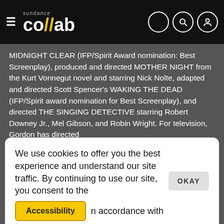sundance co//ab
MIDNIGHT CLEAR (IFP/Spirit Award nomination: Best Screenplay), produced and directed MOTHER NIGHT from the Kurt Vonnegut novel and starring Nick Nolte, adapted and directed Scott Spencer's WAKING THE DEAD (IFP/Spirit award nomination for Best Screenplay), and directed THE SINGING DETECTIVE starring Robert Downey Jr., Mel Gibson, and Robin Wright. For television, Gordon has directed
We use cookies to offer you the best experience and understand our site traffic. By continuing to use our site, you consent to the
OKAY
Accessibility
n accordance with
/.
THE RETURNED (also Executive Producer) and